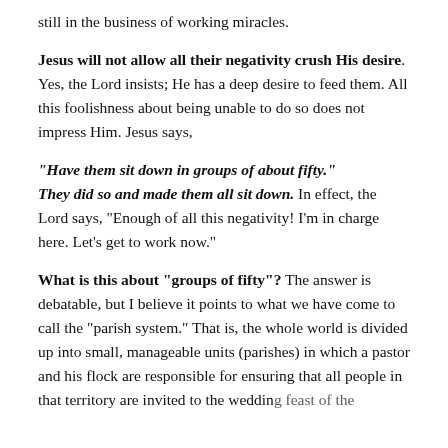still in the business of working miracles.
Jesus will not allow all their negativity crush His desire. Yes, the Lord insists; He has a deep desire to feed them. All this foolishness about being unable to do so does not impress Him. Jesus says,
“Have them sit down in groups of about fifty.” They did so and made them all sit down. In effect, the Lord says, “Enough of all this negativity! I’m in charge here. Let’s get to work now.”
What is this about “groups of fifty”? The answer is debatable, but I believe it points to what we have come to call the “parish system.” That is, the whole world is divided up into small, manageable units (parishes) in which a pastor and his flock are responsible for ensuring that all people in that territory are invited to the wedding feast of the